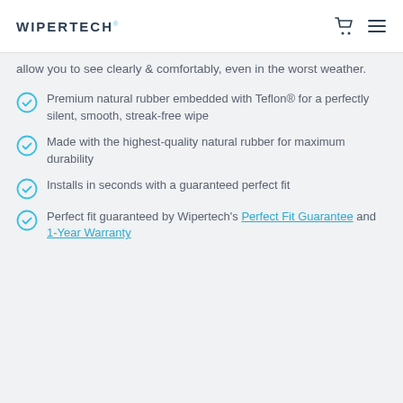WIPERTECH
allow you to see clearly & comfortably, even in the worst weather.
Premium natural rubber embedded with Teflon® for a perfectly silent, smooth, streak-free wipe
Made with the highest-quality natural rubber for maximum durability
Installs in seconds with a guaranteed perfect fit
Perfect fit guaranteed by Wipertech's Perfect Fit Guarantee and 1-Year Warranty